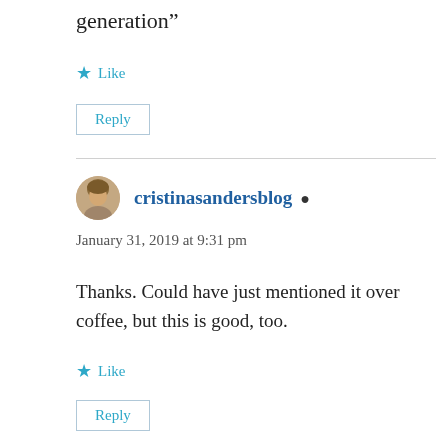generation”
★ Like
Reply
cristinasandersblog
January 31, 2019 at 9:31 pm
Thanks. Could have just mentioned it over coffee, but this is good, too.
★ Like
Reply